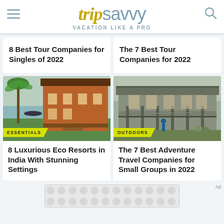tripsavvy — VACATION LIKE A PRO
8 Best Tour Companies for Singles of 2022
The 7 Best Tour Companies for 2022
[Figure (photo): Eco resort in India with palm trees, water view, and wooden colonial-style building. Badge: ESSENTIALS]
8 Luxurious Eco Resorts in India With Stunning Settings
[Figure (photo): Old weathered building with a covered porch in a rural/town setting. Badge: OUTDOORS]
The 7 Best Adventure Travel Companies for Small Groups in 2022
Ad